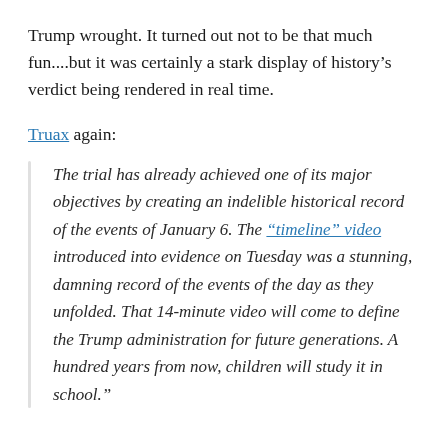Trump wrought. It turned out not to be that much fun....but it was certainly a stark display of history's verdict being rendered in real time.
Truax again:
The trial has already achieved one of its major objectives by creating an indelible historical record of the events of January 6. The “timeline” video introduced into evidence on Tuesday was a stunning, damning record of the events of the day as they unfolded. That 14-minute video will come to define the Trump administration for future generations. A hundred years from now, children will study it in school.”